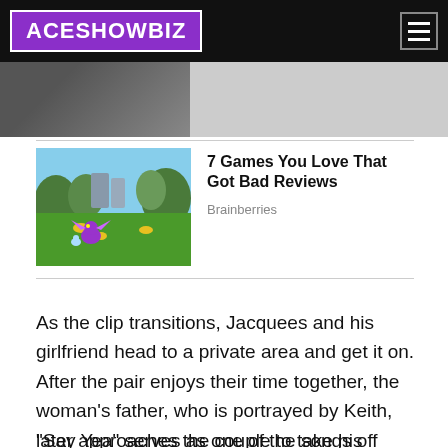ACESHOWBIZ
[Figure (photo): Thumbnail image partially visible at top, showing a person in a light blue shirt against dark background]
[Figure (photo): Screenshot from a video game showing a purple dragon character on a green field with trees and golden objects]
7 Games You Love That Got Bad Reviews
Brainberries
As the clip transitions, Jacquees and his girlfriend head to a private area and get it on. After the pair enjoys their time together, the woman's father, who is portrayed by Keith, later approaches the couple to take his daughter home. He, however, refuses speaking to the singer.
"Say Yea" serves as one of the songs off Jacquees'